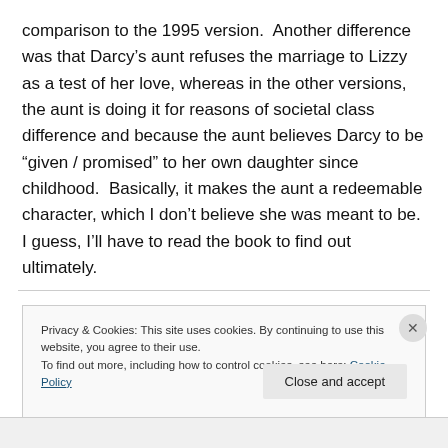comparison to the 1995 version.  Another difference was that Darcy's aunt refuses the marriage to Lizzy as a test of her love, whereas in the other versions, the aunt is doing it for reasons of societal class difference and because the aunt believes Darcy to be “given / promised” to her own daughter since childhood.  Basically, it makes the aunt a redeemable character, which I don’t believe she was meant to be.  I guess, I’ll have to read the book to find out ultimately.
Privacy & Cookies: This site uses cookies. By continuing to use this website, you agree to their use.
To find out more, including how to control cookies, see here: Cookie Policy